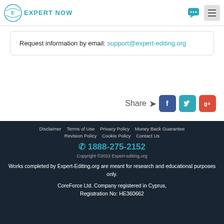[Figure (logo): Expert-Editing.org logo with ornate shield emblem and text 'EXPERT NOW']
Request information by email: support@expert-editing.org
Share > [Facebook] [Twitter] [Google+]
Disclaimer   Terms of Use   Privacy Policy   Money Back Guarantee
Revision Policy   Cookie Policy   Contact Us
☎ 1888-275-2152
Copyright ©2022 Expert-editing.org
Works completed by Expert-Editing.org are meant for research and educational purposes only.
CoreForce Ltd. Company registered in Cyprus, Registration No: HE360662